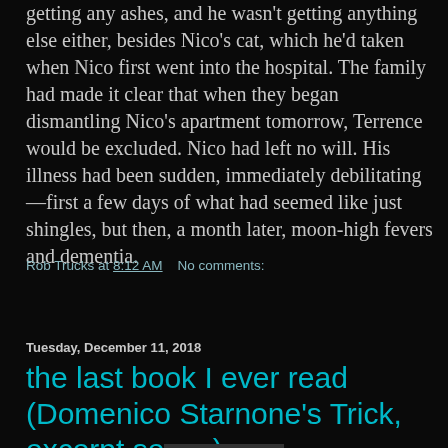getting any ashes, and he wasn't getting anything else either, besides Nico's cat, which he'd taken when Nico first went into the hospital. The family had made it clear that when they began dismantling Nico's apartment tomorrow, Terrence would be excluded. Nico had left no will. His illness had been sudden, immediately debilitating—first a few days of what had seemed like just shingles, but then, a month later, moon-high fevers and dementia.
Rob Trucks at 8:12 AM   No comments:
Share
Tuesday, December 11, 2018
the last book I ever read (Domenico Starnone's Trick, excerpt seven)